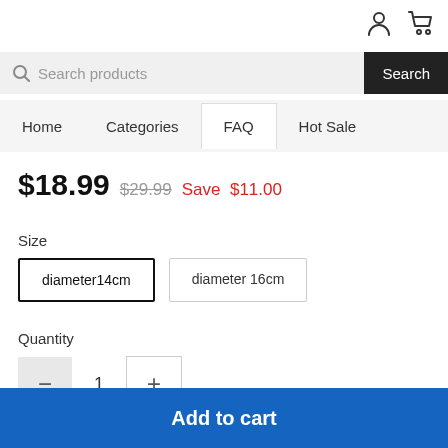[Figure (screenshot): User account icon (person silhouette) and shopping cart icon in top-right header area]
[Figure (screenshot): Search bar with magnifying glass icon, placeholder text 'Search products', and a dark 'Search' button]
Home   Categories   FAQ   Hot Sale
$18.99  $29.99  Save  $11.00
Size
diameter14cm
diameter 16cm
Quantity
1
Add to cart